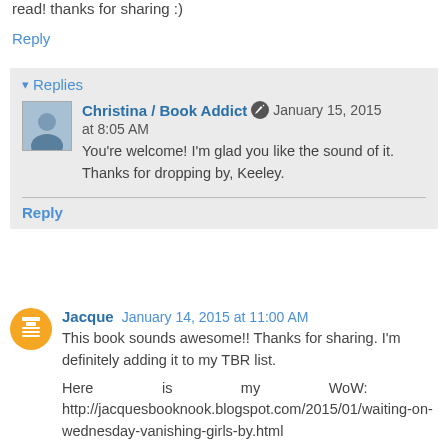read! thanks for sharing :)
Reply
▾ Replies
Christina / Book Addict  January 15, 2015 at 8:05 AM
You're welcome! I'm glad you like the sound of it. Thanks for dropping by, Keeley.
Reply
Jacque  January 14, 2015 at 11:00 AM
This book sounds awesome!! Thanks for sharing. I'm definitely adding it to my TBR list.
Here is my WoW: http://jacquesbooknook.blogspot.com/2015/01/waiting-on-wednesday-vanishing-girls-by.html
Reply